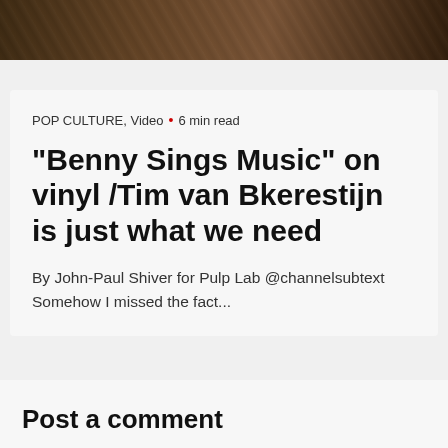[Figure (photo): Partial photo at top of page showing a dark image, appears to be a group of people or musicians, cropped]
POP CULTURE, Video • 6 min read
"Benny Sings Music" on vinyl /Tim van Bkerestijn is just what we need
By John-Paul Shiver for Pulp Lab @channelsubtext Somehow I missed the fact...
Post a comment